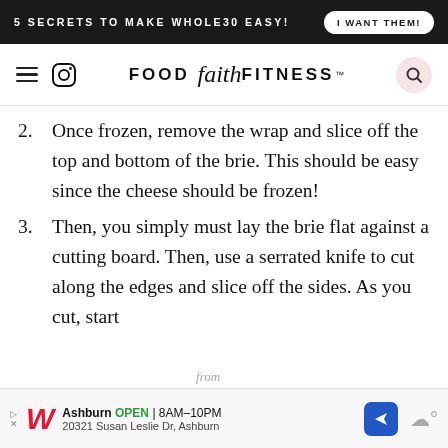5 SECRETS TO MAKE WHOLE30 EASY! | I WANT THEM!
FOOD faith FITNESS
2. Once frozen, remove the wrap and slice off the top and bottom of the brie. This should be easy since the cheese should be frozen!
3. Then, you simply must lay the brie flat against a cutting board. Then, use a serrated knife to cut along the edges and slice off the sides. As you cut, start